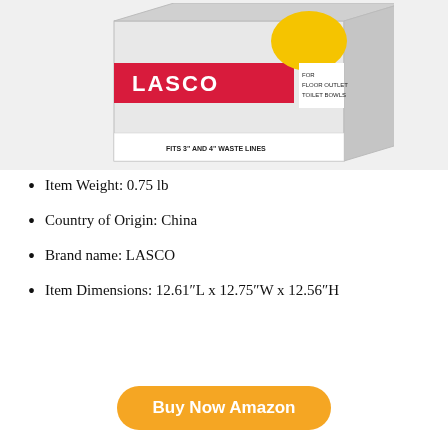[Figure (photo): Product box for LASCO floor outlet toilet bowl wax ring. Box shows red and yellow branding with text 'LASCO', 'FOR FLOOR OUTLET TOILET BOWLS', and 'FITS 3" AND 4" WASTE LINES'.]
Item Weight: 0.75 lb
Country of Origin: China
Brand name: LASCO
Item Dimensions: 12.61″L x 12.75″W x 12.56″H
Buy Now Amazon